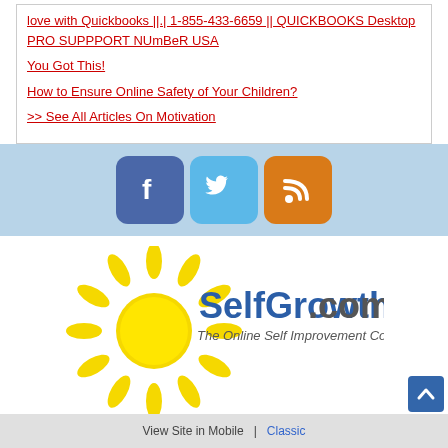love with Quickbooks ||.| 1-855-433-6659 || QUICKBOOKS Desktop PRO SUPPPORT NUmBeR USA
You Got This!
How to Ensure Online Safety of Your Children?
>> See All Articles On Motivation
[Figure (logo): Social media icons: Facebook (blue), Twitter (light blue), RSS (orange)]
[Figure (logo): SelfGrowth.com logo with sun graphic and tagline 'The Online Self Improvement Community']
View Site in Mobile  |  Classic